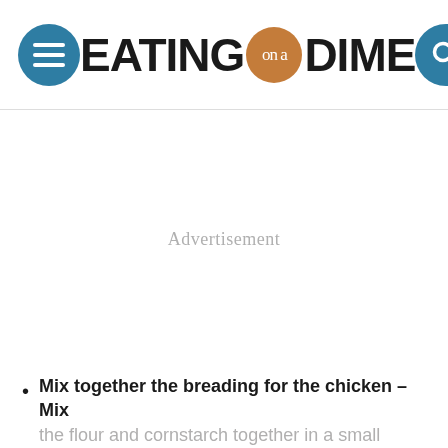EATING on a DIME
Advertisement
Mix together the breading for the chicken – Mix the flour and cornstarch together in a small bowl. Then whisk the eggs in a separate bowl.